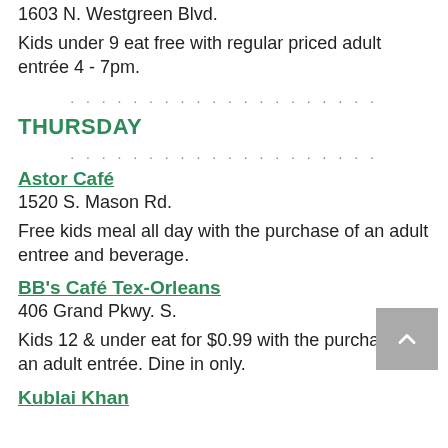1603 N. Westgreen Blvd.
Kids under 9 eat free with regular priced adult entrée 4 - 7pm.
. . . . . . . . . . . . . . . . . . . . .
THURSDAY
. . . . . . . . . . . . . . . . . . . . .
Astor Café
1520 S. Mason Rd.
Free kids meal all day with the purchase of an adult entree and beverage.
BB's Café Tex-Orleans
406 Grand Pkwy. S.
Kids 12 & under eat for $0.99 with the purchase of an adult entrée. Dine in only.
Kublai Khan